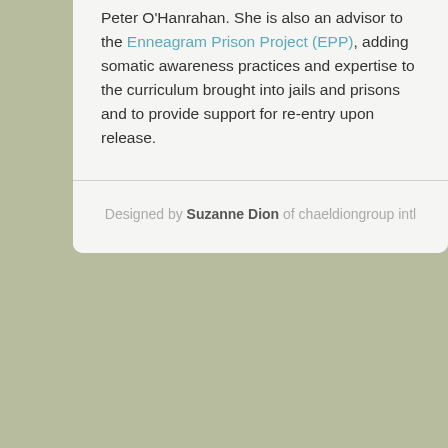Peter O'Hanrahan. She is also an advisor to the Enneagram Prison Project (EPP), adding somatic awareness practices and expertise to the curriculum brought into jails and prisons and to provide support for re-entry upon release.
Designed by Suzanne Dion of chaeldiongroup intl